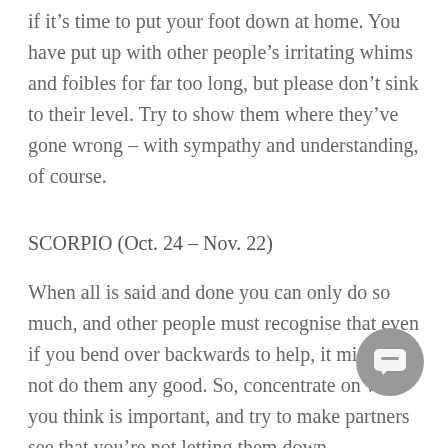if it's time to put your foot down at home. You have put up with other people's irritating whims and foibles for far too long, but please don't sink to their level. Try to show them where they've gone wrong – with sympathy and understanding, of course.
SCORPIO (Oct. 24 – Nov. 22)
When all is said and done you can only do so much, and other people must recognise that even if you bend over backwards to help, it might still not do them any good. So, concentrate on what you think is important, and try to make partners see that you're not letting them down.
SAGITTARIUS (Nov. 23 – Dec. 22)
Stay busy and recognise that collaboration is essential at